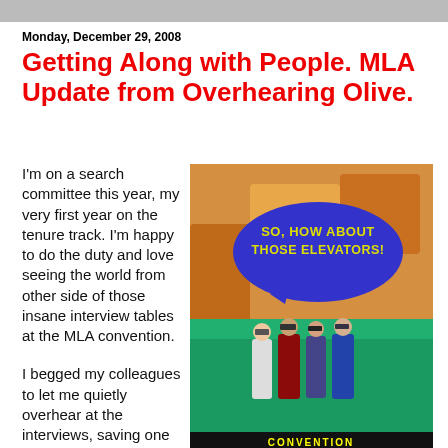Monday, December 29, 2008
Getting Along with People. MLA Update from Overhearing Olive.
I'm on a search committee this year, my very first year on the tenure track. I'm happy to do the duty and love seeing the world from other side of those insane interview tables at the MLA convention.
I begged my colleagues to let me quietly overhear at the interviews, saving one small question for the
[Figure (illustration): Illustration of academics in graduation robes at a convention with a speech bubble saying 'SO, HOW ABOUT THOSE ELEVATORS!' and a banner reading 'CONVENTION REPORTS 08-09']